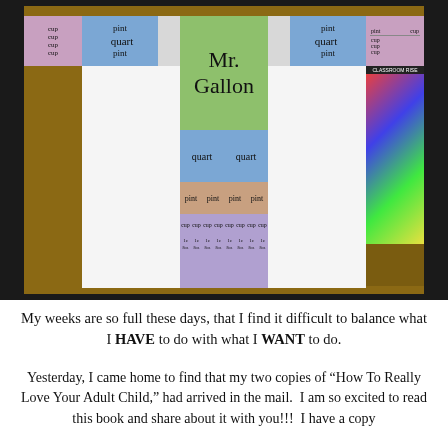[Figure (photo): Classroom educational display board showing 'Mr. Gallon' measurement chart with colored cards representing gallons, quarts, pints, and cups. A green card in the center reads 'Mr. Gallon', with blue cards for quarts, pink/brown cards for pints, and purple cards for cups arranged hierarchically.]
My weeks are so full these days, that I find it difficult to balance what I HAVE to do with what I WANT to do.
Yesterday, I came home to find that my two copies of “How To Really Love Your Adult Child,” had arrived in the mail.  I am so excited to read this book and share about it with you!!!  I have a copy